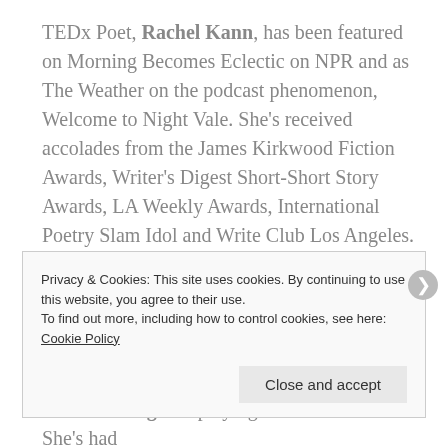TEDx Poet, Rachel Kann, has been featured on Morning Becomes Eclectic on NPR and as The Weather on the podcast phenomenon, Welcome to Night Vale. She's received accolades from the James Kirkwood Fiction Awards, Writer's Digest Short-Short Story Awards, LA Weekly Awards, International Poetry Slam Idol and Write Club Los Angeles. She's performed from The Nuyorican Poets' Cafe to Disney Concert Hall. She teaches poetry through UCLA Extension Writers' Program. Visit her at rachelkann.com.
RaeAnn Yinger is playing with her name. She's had
Privacy & Cookies: This site uses cookies. By continuing to use this website, you agree to their use. To find out more, including how to control cookies, see here: Cookie Policy
Close and accept